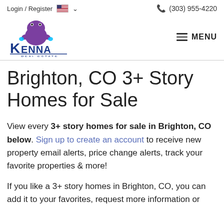Login / Register  🇺🇸 ∨    ☎ (303) 955-4220
[Figure (logo): Kenna Real Estate logo with purple frog mascot and blue text]
Brighton, CO 3+ Story Homes for Sale
View every 3+ story homes for sale in Brighton, CO below. Sign up to create an account to receive new property email alerts, price change alerts, track your favorite properties & more!
If you like a 3+ story homes in Brighton, CO, you can add it to your favorites, request more information or